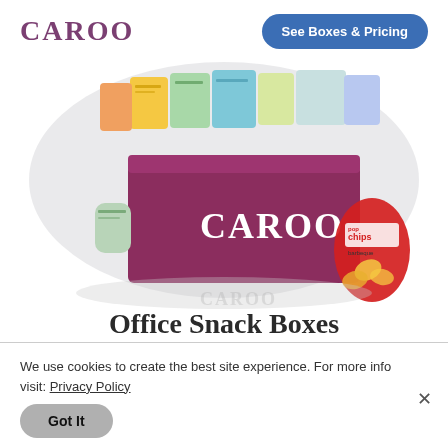CAROO  |  See Boxes & Pricing
[Figure (photo): Open Caroo snack subscription box filled with various snack packages, with popchips barbeque bag leaning against the right side, displayed on a light oval background. The front of the purple box shows the CAROO logo in white.]
Office Snack Boxes
Shared boxes of curated single-serve. Perfect for the office breakroom.
We use cookies to create the best site experience. For more info visit: Privacy Policy
Got It